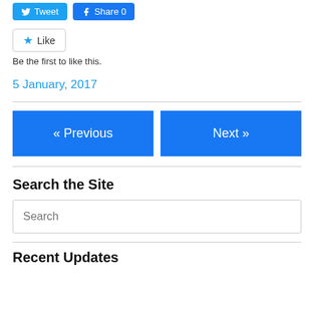[Figure (other): Social sharing buttons: Tweet (Twitter blue) and Share 0 (Facebook blue)]
[Figure (other): Like button with star icon and text 'Be the first to like this.']
Be the first to like this.
5 January, 2017
[Figure (other): Navigation buttons: « Previous and Next »]
Search the Site
[Figure (other): Search input field with placeholder text 'Search']
Recent Updates